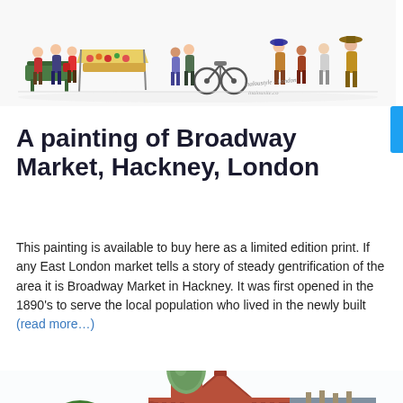[Figure (illustration): Watercolour illustration of a busy market scene with people, market stalls, a green bench, bicycles, and various figures walking around Broadway Market, Hackney, London. Artist signature visible.]
A painting of Broadway Market, Hackney, London
This painting is available to buy here as a limited edition print. If any East London market tells a story of steady gentrification of the area it is Broadway Market in Hackney. It was first opened in the 1890's to serve the local population who lived in the newly built (read more…)
[Figure (illustration): Watercolour illustration of a red-brick Victorian building with a green copper dome, Gothic gabled roof details, and an adjacent yellow-brick Georgian terraced house with a lamp post in the foreground and a green tree to the left.]